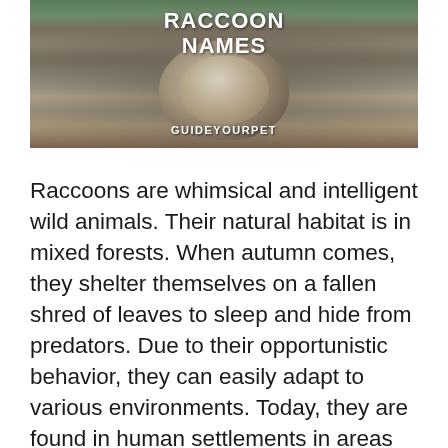[Figure (photo): Photo of a raccoon with text overlay. Title reads 'RACCOON NAMES' in bold white capital letters at the top. Below the image text reads 'GUIDEYOURPET' in white bold letters.]
Raccoons are whimsical and intelligent wild animals. Their natural habitat is in mixed forests. When autumn comes, they shelter themselves on a fallen shred of leaves to sleep and hide from predators. Due to their opportunistic behavior, they can easily adapt to various environments. Today, they are found in human settlements in areas that are … Read more